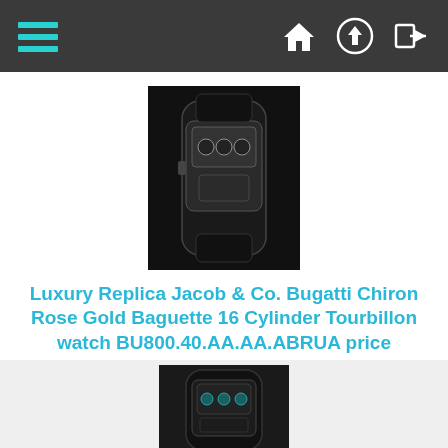Navigation bar with hamburger menu and icons
[Figure (photo): Product photo of Jacob & Co. Bugatti Chiron watch on black background]
Luxury Replica Jacob & Co. Bugatti Chiron Rose Gold Baguette 16 Cylinder Tourbillon watch BU800.40.AA.AA.ABRUA price
Item specifics   Item Type: Replica Grand Complication Masterpieces Watches Case Material: Rose Gold Model Number:...
$385.00
Add:
0
[Figure (photo): Second product photo of the watch, partially visible at the bottom]